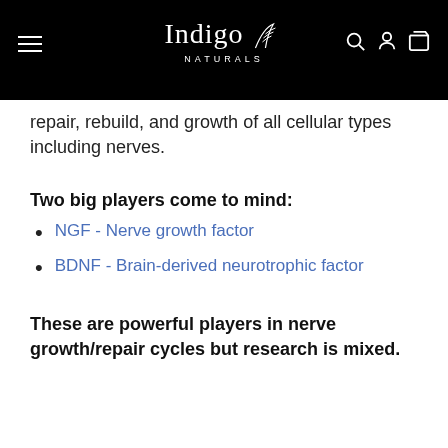Indigo Naturals
repair, rebuild, and growth of all cellular types including nerves.
Two big players come to mind:
NGF - Nerve growth factor
BDNF - Brain-derived neurotrophic factor
These are powerful players in nerve growth/repair cycles but research is mixed.